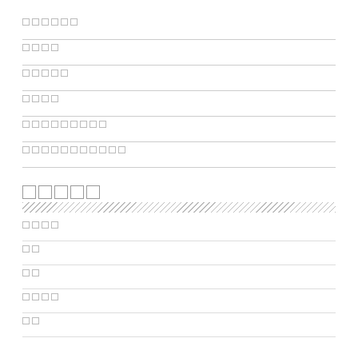[field 1 - 6 char boxes]
[field 2 - 4 char boxes]
[field 3 - 5 char boxes]
[field 4 - 4 char boxes]
[field 5 - 9 char boxes]
[field 6 - 11 char boxes]
[section title - 5 char boxes]
[hatched bar]
[sub field 1 - 4 char boxes]
[sub field 2 - 2 char boxes]
[sub field 3 - 2 char boxes]
[sub field 4 - 4 char boxes]
[sub field 5 - 2 char boxes]